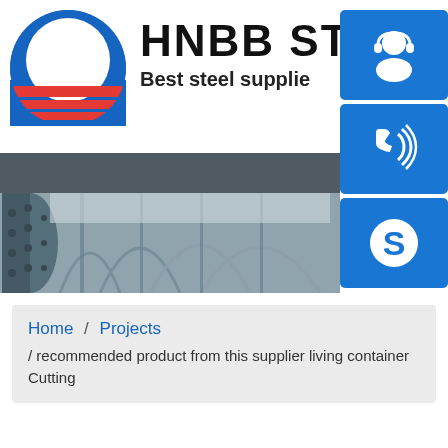[Figure (logo): HNBB Steel company logo with circular blue/red design and text 'HNBB STEEL' and 'Best steel supplie']
[Figure (photo): Industrial steel structure interior photo showing arched steel framework and skylight corridor]
[Figure (infographic): Three blue icon buttons on the right side: headset/customer service icon, phone icon, and Skype icon]
Home / Projects / recommended product from this supplier living container Cutting